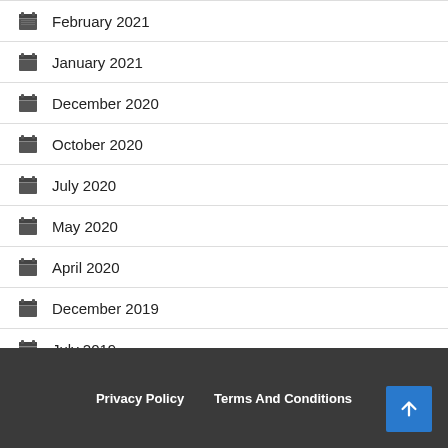February 2021
January 2021
December 2020
October 2020
July 2020
May 2020
April 2020
December 2019
July 2019
Privacy Policy   Terms And Conditions